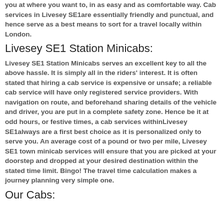you at where you want to, in as easy and as comfortable way. Cab services in Livesey SE1are essentially friendly and punctual, and hence serve as a best means to sort for a travel locally within London.
Livesey SE1 Station Minicabs:
Livesey SE1 Station Minicabs serves an excellent key to all the above hassle. It is simply all in the riders' interest. It is often stated that hiring a cab service is expensive or unsafe; a reliable cab service will have only registered service providers. With navigation on route, and beforehand sharing details of the vehicle and driver, you are put in a complete safety zone. Hence be it at odd hours, or festive times, a cab services withinLivesey SE1always are a first best choice as it is personalized only to serve you. An average cost of a pound or two per mile, Livesey SE1 town minicab services will ensure that you are picked at your doorstep and dropped at your desired destination within the stated time limit. Bingo! The travel time calculation makes a journey planning very simple one.
Our Cabs: